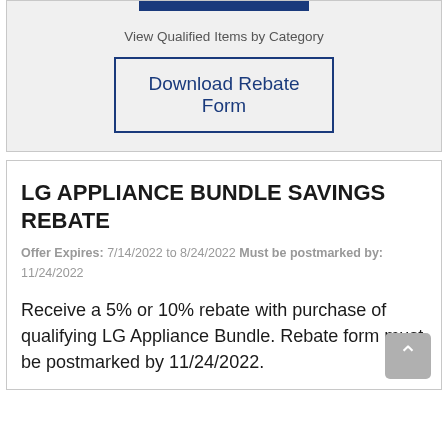[Figure (other): Blue horizontal bar graphic element at top of card]
View Qualified Items by Category
Download Rebate Form
LG APPLIANCE BUNDLE SAVINGS REBATE
Offer Expires: 7/14/2022 to 8/24/2022 Must be postmarked by: 11/24/2022
Receive a 5% or 10% rebate with purchase of qualifying LG Appliance Bundle. Rebate form must be postmarked by 11/24/2022.